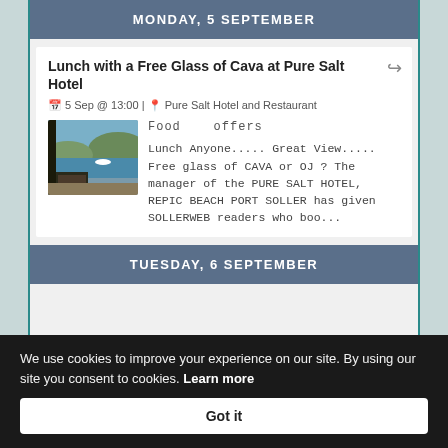MONDAY, 5 SEPTEMBER
Lunch with a Free Glass of Cava at Pure Salt Hotel
5 Sep @ 13:00 | Pure Salt Hotel and Restaurant
Food   offers
[Figure (photo): Photo of a restaurant terrace overlooking a bay with boats and hillside]
Lunch Anyone..... Great View..... Free glass of CAVA or OJ ? The manager of the PURE SALT HOTEL, REPIC BEACH PORT SOLLER has given SOLLERWEB readers who boo...
TUESDAY, 6 SEPTEMBER
We use cookies to improve your experience on our site. By using our site you consent to cookies. Learn more
Got it